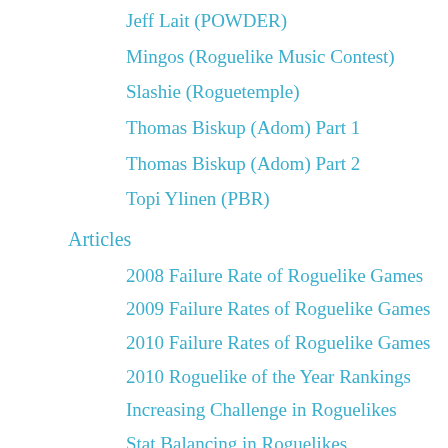Jeff Lait (POWDER)
Mingos (Roguelike Music Contest)
Slashie (Roguetemple)
Thomas Biskup (Adom) Part 1
Thomas Biskup (Adom) Part 2
Topi Ylinen (PBR)
Articles
2008 Failure Rate of Roguelike Games
2009 Failure Rates of Roguelike Games
2010 Failure Rates of Roguelike Games
2010 Roguelike of the Year Rankings
Increasing Challenge in Roguelikes
Stat Balancing in Roguelikes
About